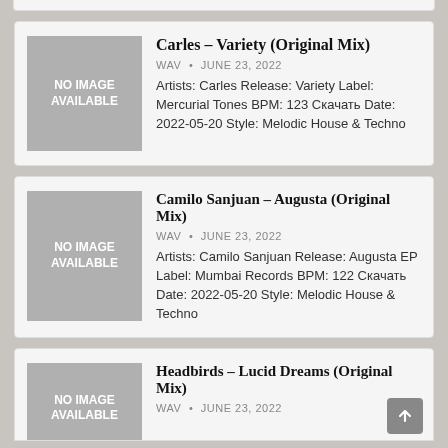[Figure (other): No image available placeholder thumbnail for first card]
Carles – Variety (Original Mix)
WAV • JUNE 23, 2022
Artists: Carles Release: Variety Label: Mercurial Tones BPM: 123 Скачать Date: 2022-05-20 Style: Melodic House & Techno
[Figure (other): No image available placeholder thumbnail for second card]
Camilo Sanjuan – Augusta (Original Mix)
WAV • JUNE 23, 2022
Artists: Camilo Sanjuan Release: Augusta EP Label: Mumbai Records BPM: 122 Скачать Date: 2022-05-20 Style: Melodic House & Techno
[Figure (other): No image available placeholder thumbnail for third card]
Headbirds – Lucid Dreams (Original Mix)
WAV • JUNE 23, 2022